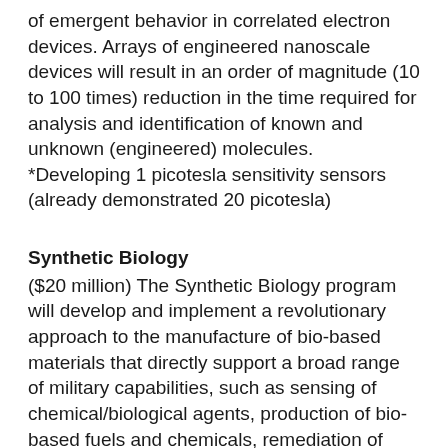of emergent behavior in correlated electron devices. Arrays of engineered nanoscale devices will result in an order of magnitude (10 to 100 times) reduction in the time required for analysis and identification of known and unknown (engineered) molecules. *Developing 1 picotesla sensitivity sensors (already demonstrated 20 picotesla)
Synthetic Biology
($20 million) The Synthetic Biology program will develop and implement a revolutionary approach to the manufacture of bio-based materials that directly support a broad range of military capabilities, such as sensing of chemical/biological agents, production of bio-based fuels and chemicals, remediation of pollutants, and protection of the food